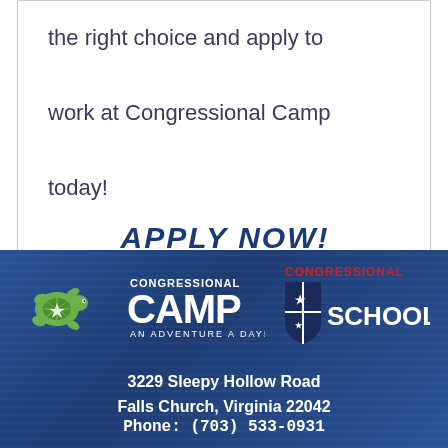the right choice and apply to work at Congressional Camp today!
APPLY NOW!
[Figure (logo): Congressional Camp logo with turtle mascot and text 'Congressional Camp An Adventure A Day!']
[Figure (logo): Congressional School logo with shield emblem and text 'Congressional School']
3229 Sleepy Hollow Road
Falls Church, Virginia 22042
Phone: (703) 533-0931